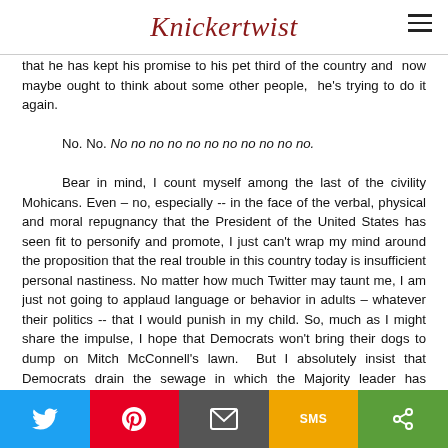Knickertwist
that he has kept his promise to his pet third of the country and now maybe ought to think about some other people, he's trying to do it again.

No. No. No no no no no no no no no no no.

Bear in mind, I count myself among the last of the civility Mohicans. Even – no, especially -- in the face of the verbal, physical and moral repugnancy that the President of the United States has seen fit to personify and promote, I just can't wrap my mind around the proposition that the real trouble in this country today is insufficient personal nastiness. No matter how much Twitter may taunt me, I am just not going to applaud language or behavior in adults – whatever their politics -- that I would punish in my child. So, much as I might share the impulse, I hope that Democrats won't bring their dogs to dump on Mitch McConnell's lawn. But I absolutely insist that Democrats drain the sewage in which the Majority leader has submerged the Senate. This can only be done by reclaiming one, and only one, Supreme Court nomination from the right.